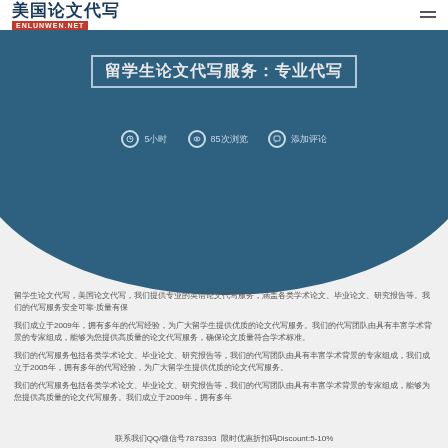[Figure (logo): 美国论文代写 ENLUNWEN.NET logo with Chinese calligraphy text and red banner]
留学生论文代写服务:专业代写
⏰ 5小时  👁 85次浏览  💬 添加评论
美国论文代写，留学生论文代写，我们提供专业的英语论文代写服务，涵盖各类学术论文、毕业论文、研究报告等。我们的代写服务安全可靠，质量有保障。我们成立于2009年，拥有多年的代写经验，为广大留学生提供优质的论文代写服务。我们的代写团队由具有丰富学术背景的专家组成，能够为您提供高质量的论文代写服务。
我们的代写服务包括各类学术论文、毕业论文、研究报告等，我们的代写团队由具有丰富学术背景的专家组成，能够为您提供高质量的论文代写服务。我们的代写服务成立于2005年，拥有多年的代写经验，为广大留学生提供优质的论文代写服务。
我们的代写服务包括各类学术论文、毕业论文、研究报告等，我们的代写团队由具有丰富学术背景的专家组成，能够为您提供高质量的论文代写服务。我们的代写服务成立于2009年，拥有多年的代写经验。
联系我们QQ/微信号7878393 限时优惠折扣码Discount:5-10%